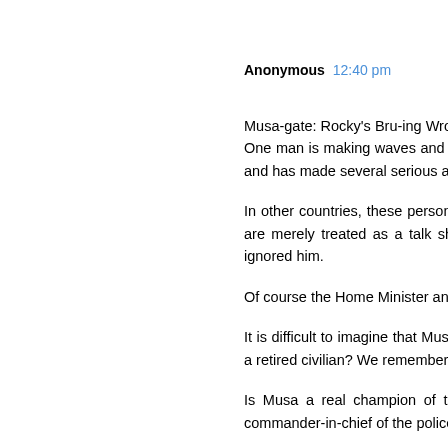Anonymous 12:40 pm
Musa-gate: Rocky's Bru-ing Wrong!
One man is making waves and he would not stop talking. He is the a well-known henchman of the UMNO regime. Musa is now claiming force and has made several serious allegations against the Home the KSU and other politicians.

In other countries, these personalities, including Musa Hassan, for investigation. He was the IGP, the highest rank police offic allegations are merely treated as a talk show. Press members online news media, are treated to exciting story telling. But t mostly avoided and ignored him.

Of course the Home Minister and his party leaders have brushe claimed that someone is behind the latter's move to disrupt the UM

It is difficult to imagine that Musa is doing the expose right now t from further deterioration. If he did nothing much during his tenur now as a retired civilian? We remembered clearly that Musa controversies and he was even seen in greater cohort of the ruli IGPs previously.

Is Musa a real champion of the police force? If he is, he would would respect the fundamental rights of the people to assemble commander-in-chief of the police, who had instructed bar